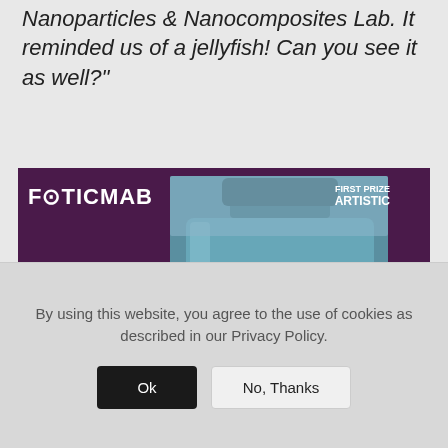Nanoparticles & Nanocomposites Lab. It reminded us of a jellyfish! Can you see it as well?"
[Figure (photo): FOTICMAB contest photo showing a glass bottle containing what appears to be a jellyfish-like structure made of bacterial cellulose. The image has a purple/maroon background. Text overlays include FOTICMAB logo top-left, FIRST PRIZE ARTISTIC top-right, BACTERIAL CELLULOSE OR JELLYFISHO bottom-left, and NEREA MURUCАРРЕN bottom-right.]
By using this website, you agree to the use of cookies as described in our Privacy Policy.